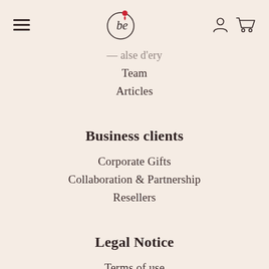be (logo with location pin)
— (partial, cut off)
Team
Articles
Business clients
Corporate Gifts
Collaboration & Partnership
Resellers
Legal Notice
Terms of use
Delivery times and costs
Warranty and returns
Privacy Policy